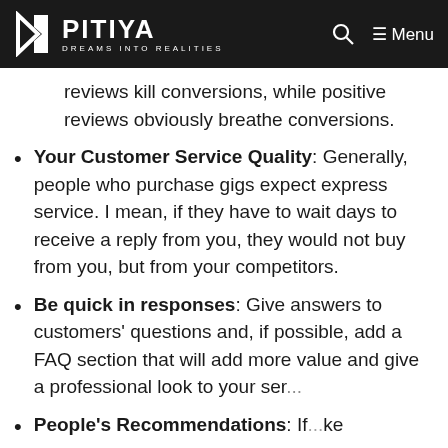PITIYA — DREAMS INTO REALITIES | Menu
reviews kill conversions, while positive reviews obviously breathe conversions.
Your Customer Service Quality: Generally, people who purchase gigs expect express service. I mean, if they have to wait days to receive a reply from you, they would not buy from you, but from your competitors.
Be quick in responses: Give answers to customers' questions and, if possible, add a FAQ section that will add more value and give a professional look to your ser...
People's Recommendations: If...ke